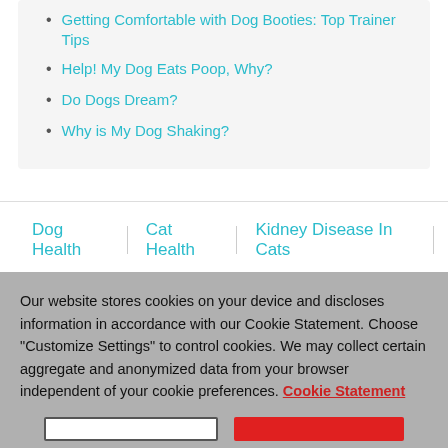Getting Comfortable with Dog Booties: Top Trainer Tips
Help! My Dog Eats Poop, Why?
Do Dogs Dream?
Why is My Dog Shaking?
Dog Health | Cat Health | Kidney Disease In Cats
Our website stores cookies on your device and discloses information in accordance with our Cookie Statement. Choose "Customize Settings" to control cookies. We may collect certain aggregate and anonymized data from your browser independent of your cookie preferences. Cookie Statement